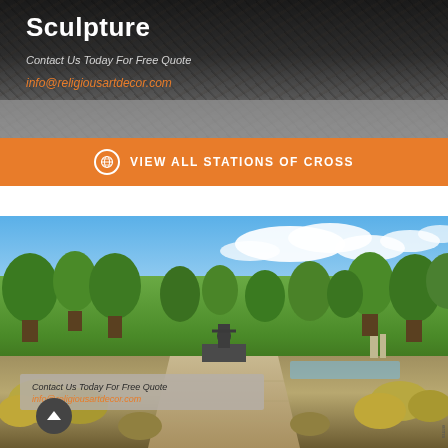Sculpture
Contact Us Today For Free Quote
info@religiousartdecor.com
VIEW ALL STATIONS OF CROSS
[Figure (photo): Outdoor religious sculpture/statue of a figure in a garden park setting with trees, blue sky, clouds, and a stone pathway lined with ornamental grasses]
Contact Us Today For Free Quote
info@religiousartdecor.com